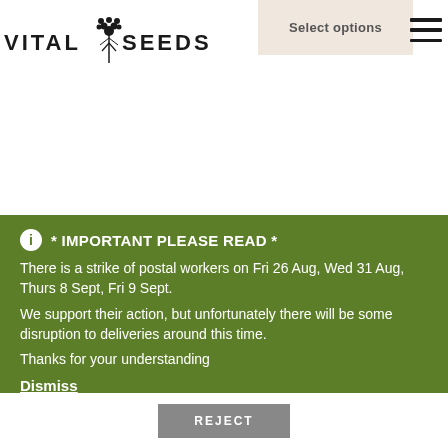[Figure (logo): Vital Seeds logo with plant/seed illustration and text VITAL SEEDS]
Select options
* IMPORTANT PLEASE READ *
There is a strike of postal workers on Fri 26 Aug, Wed 31 Aug, Thurs 8 Sept, Fri 9 Sept.
We support their action, but unfortunately there will be some disruption to deliveries around this time.
Thanks for your understanding
Dismiss
REJECT